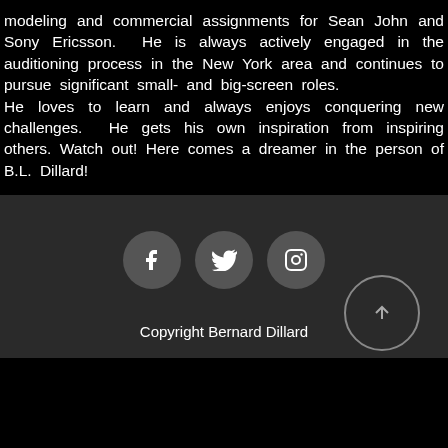modeling and commercial assignments for Sean John and Sony Ericsson. He is always actively engaged in the auditioning process in the New York area and continues to pursue significant small- and big-screen roles. He loves to learn and always enjoys conquering new challenges. He gets his own inspiration from inspiring others. Watch out! Here comes a dreamer in the person of B.L. Dillard!
[Figure (infographic): Three social media icon circles (Facebook, Twitter, Instagram) and a circular up-arrow button, plus Copyright Bernard Dillard text, on a dark grey background.]
Copyright Bernard Dillard